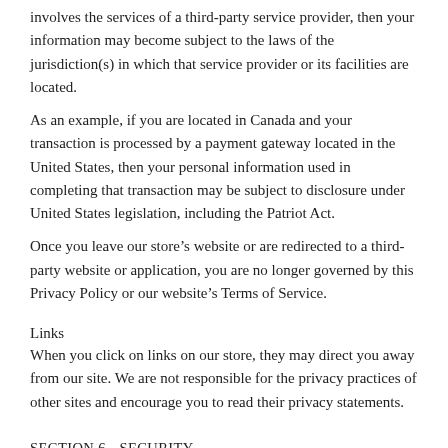involves the services of a third-party service provider, then your information may become subject to the laws of the jurisdiction(s) in which that service provider or its facilities are located.
As an example, if you are located in Canada and your transaction is processed by a payment gateway located in the United States, then your personal information used in completing that transaction may be subject to disclosure under United States legislation, including the Patriot Act.
Once you leave our store’s website or are redirected to a third-party website or application, you are no longer governed by this Privacy Policy or our website’s Terms of Service.
Links
When you click on links on our store, they may direct you away from our site. We are not responsible for the privacy practices of other sites and encourage you to read their privacy statements.
SECTION 6 - SECURITY